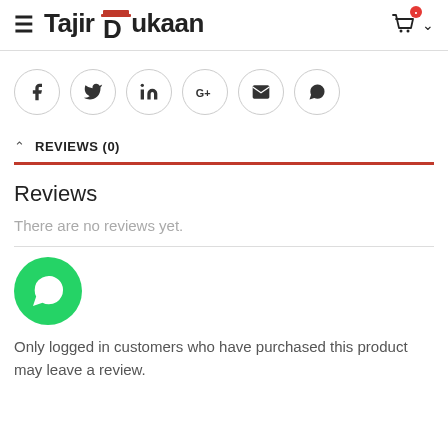TajirDukaan
[Figure (other): Social sharing icons row: Facebook, Twitter, LinkedIn, Google+, Email, WhatsApp — each in a circular outlined button]
REVIEWS (0)
Reviews
There are no reviews yet.
[Figure (logo): WhatsApp green circular button with phone/chat icon]
Only logged in customers who have purchased this product may leave a review.